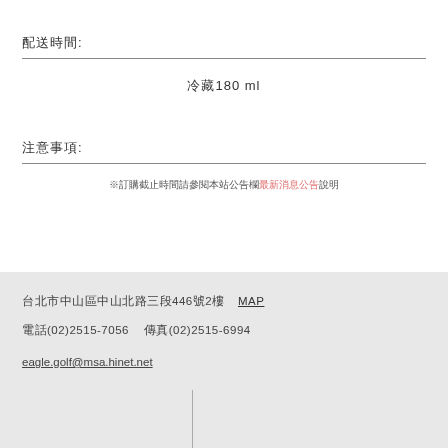配送時間:
冷藏180 ml
注意事項:
※訂購截止時間請參閱本站公告欄最新消息公告說明
台北市中山區中山北路三段446號2樓  MAP  電話(02)2515-7056  傳真(02)2515-6994  eagle.golf@msa.hinet.net